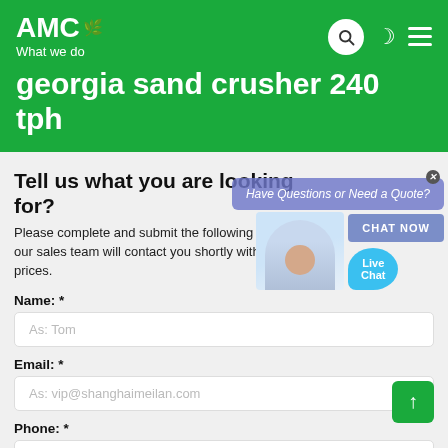AMC What we do
georgia sand crusher 240 tph
Tell us what you are looking for?
Please complete and submit the following form and our sales team will contact you shortly with our best prices.
Name: *
As: Tom
Email: *
As: vip@shanghaimeilan.com
Phone: *
With Country Code
[Figure (screenshot): Live chat popup overlay with customer service representative image, 'Have Questions or Need a Quote?' text, CHAT NOW button, and Live Chat speech bubble]